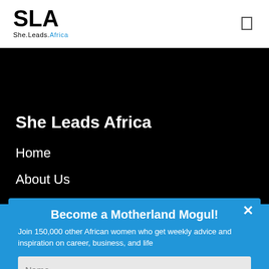SLA She.Leads.Africa
She Leads Africa
Home
About Us
Contact Us
Careers
Resources
Become a Motherland Mogul!
Join 150,000 other African women who get weekly advice and inspiration on career, business, and life
Name